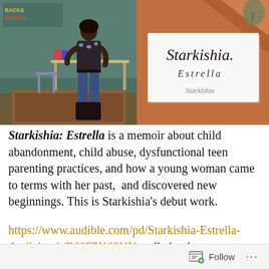[Figure (photo): Left photo: A woman standing in a classroom/library setting with 'Back to School' decorations, books on a table behind her. Right photo: A white card/sign with cursive text reading 'Starkishia. Estrella' on an orange/brown fabric background.]
Starkishia: Estrella is a memoir about child abandonment, child abuse, dysfunctional teen parenting practices, and how a young woman came to terms with her past, and discovered new beginnings. This is Starkishia's debut work.
https://www.audible.com/pd/Starkishia-Estrella-Audiobook/B08F5K68HN audio book
Follow ...